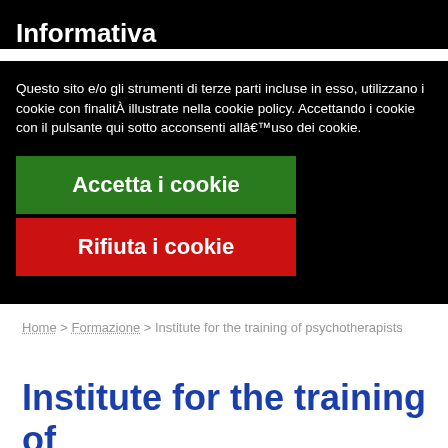Informativa
Questo sito e/o gli strumenti di terze parti incluse in esso, utilizzano i cookie con finalitÀ  illustrate nella cookie policy. Accettando i cookie con il pulsante qui sotto acconsenti allâ€™uso dei cookie.
Accetta i cookie
Rifiuta i cookie
Home > Formazione > Institute for the training of psychotherapists
Institute for the training of psychotherapists